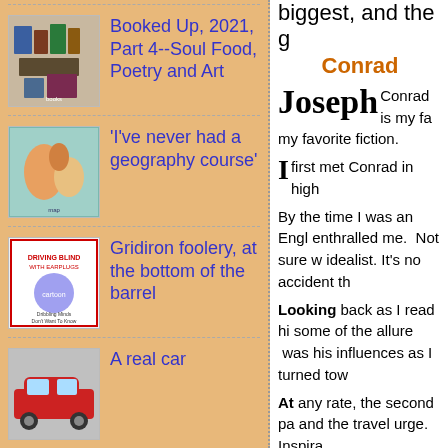Booked Up, 2021, Part 4--Soul Food, Poetry and Art
'I've never had a geography course'
Gridiron foolery, at the bottom of the barrel
A real car
biggest, and the g Conrad
Joseph Conrad is my fa my favorite fiction.
I first met Conrad in high
By the time I was an Engl enthralled me. Not sure w idealist. It's no accident th
Looking back as I read hi some of the allure was his influences as I turned tow
At any rate, the second pa and the travel urge. Inspira
Day 2
Palette--Ultamarine & P